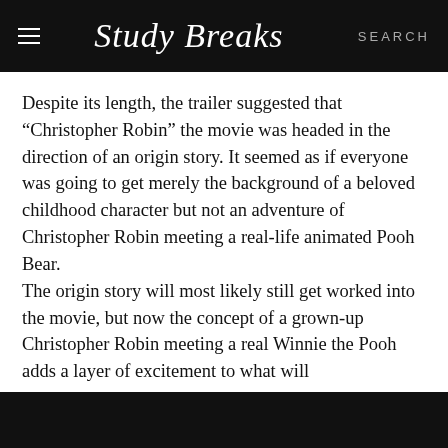Study Breaks   SEARCH
Despite its length, the trailer suggested that “Christopher Robin” the movie was headed in the direction of an origin story. It seemed as if everyone was going to get merely the background of a beloved childhood character but not an adventure of Christopher Robin meeting a real-life animated Pooh Bear. The origin story will most likely still get worked into the movie, but now the concept of a grown-up Christopher Robin meeting a real Winnie the Pooh adds a layer of excitement to what will